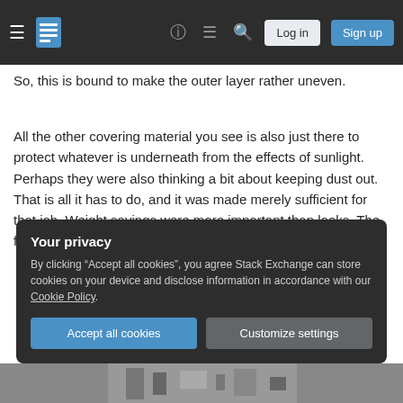Stack Exchange navigation bar with hamburger menu, logo, help, chat, search icons, Log in and Sign up buttons
So, this is bound to make the outer layer rather uneven.
All the other covering material you see is also just there to protect whatever is underneath from the effects of sunlight. Perhaps they were also thinking a bit about keeping dust out. That is all it has to do, and it was made merely sufficient for that job. Weight savings were more important than looks. The fancy stuff is underneath all those bare-bones panels.
Your privacy
By clicking “Accept all cookies”, you agree Stack Exchange can store cookies on your device and disclose information in accordance with our Cookie Policy.
[Figure (screenshot): Bottom strip showing a partial photograph of machinery or equipment]